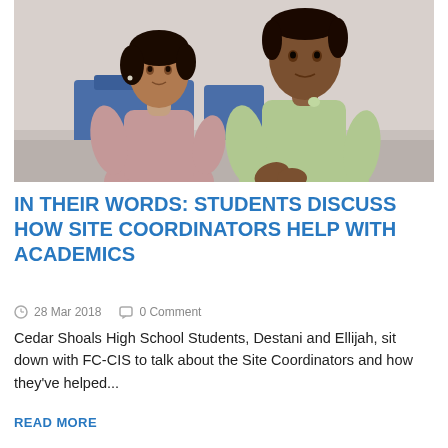[Figure (photo): Two high school students, a young woman in a pink/mauve top and a young man in a light green polo shirt, seated side by side in what appears to be a school or community room with blue chairs in the background.]
IN THEIR WORDS: STUDENTS DISCUSS HOW SITE COORDINATORS HELP WITH ACADEMICS
28 Mar 2018   0 Comment
Cedar Shoals High School Students, Destani and Ellijah, sit down with FC-CIS to talk about the Site Coordinators and how they've helped...
READ MORE